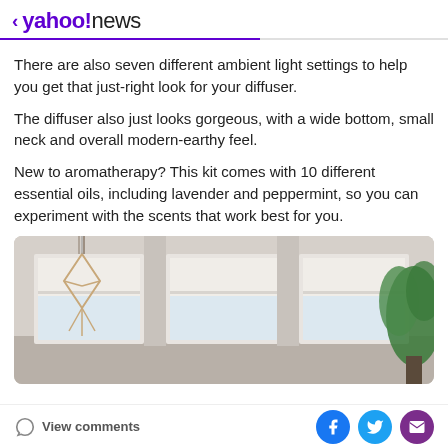< yahoo!news
There are also seven different ambient light settings to help you get that just-right look for your diffuser.
The diffuser also just looks gorgeous, with a wide bottom, small neck and overall modern-earthy feel.
New to aromatherapy? This kit comes with 10 different essential oils, including lavender and peppermint, so you can experiment with the scents that work best for you.
[Figure (photo): Room interior with three windows with white roller blinds partially raised, a macrame hanging decoration on the left, and a green leafy plant visible on the right side.]
View comments